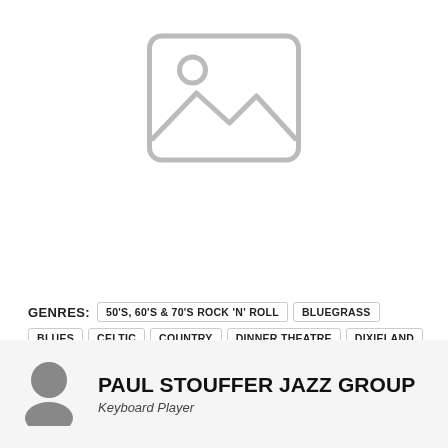[Figure (illustration): Placeholder image icon: a rounded rectangle outline with a mountain/landscape icon and a small circle (sun) inside, rendered in light gray lines on white background.]
GENRES: 50'S, 60'S & 70'S ROCK 'N' ROLL  BLUEGRASS  BLUES  CELTIC  COUNTRY  DINNER THEATRE  DIXIELAND  ETHNIC  FOLK  JAZZ  LATIN  OKTOBERFEST  POP  R & B  ROCK
LEARN MORE
[Figure (illustration): Gray silhouette avatar icon of a person (head circle above shoulders/body arc), representing the musician profile photo placeholder.]
PAUL STOUFFER JAZZ GROUP
Keyboard Player